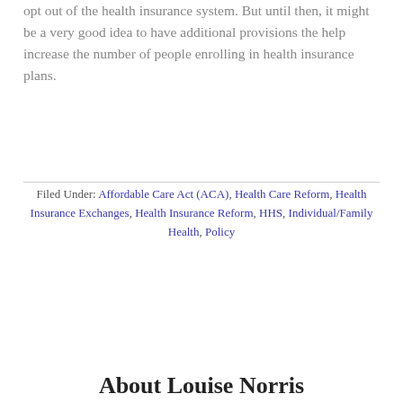opt out of the health insurance system. But until then, it might be a very good idea to have additional provisions the help increase the number of people enrolling in health insurance plans.
Filed Under: Affordable Care Act (ACA), Health Care Reform, Health Insurance Exchanges, Health Insurance Reform, HHS, Individual/Family Health, Policy
About Louise Norris